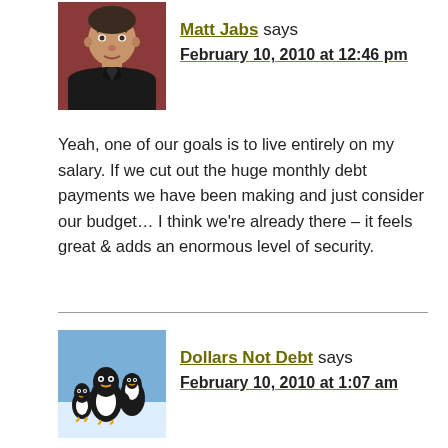[Figure (photo): Avatar photo of Matt Jabs, a man in a dark jacket against a reddish background]
Matt Jabs says
February 10, 2010 at 12:46 pm
Yeah, one of our goals is to live entirely on my salary. If we cut out the huge monthly debt payments we have been making and just consider our budget… I think we're already there – it feels great & adds an enormous level of security.
[Figure (photo): Avatar photo of Dollars Not Debt, showing penguins]
Dollars Not Debt says
February 10, 2010 at 1:07 am
In my blog, I talk about my debt free path and how